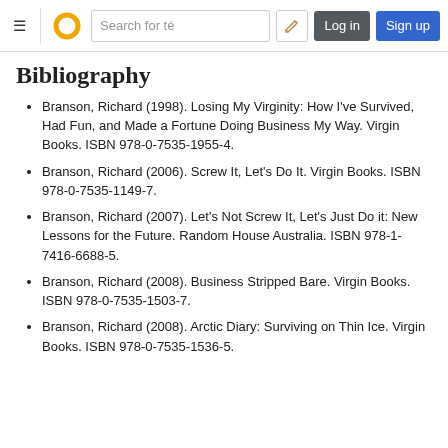Wikipedia navigation bar with menu, logo, search, edit, log in, sign up
Bibliography
Branson, Richard (1998). Losing My Virginity: How I've Survived, Had Fun, and Made a Fortune Doing Business My Way. Virgin Books. ISBN 978-0-7535-1955-4.
Branson, Richard (2006). Screw It, Let's Do It. Virgin Books. ISBN 978-0-7535-1149-7.
Branson, Richard (2007). Let's Not Screw It, Let's Just Do it: New Lessons for the Future. Random House Australia. ISBN 978-1-7416-6688-5.
Branson, Richard (2008). Business Stripped Bare. Virgin Books. ISBN 978-0-7535-1503-7.
Branson, Richard (2008). Arctic Diary: Surviving on Thin Ice. Virgin Books. ISBN 978-0-7535-1536-5.